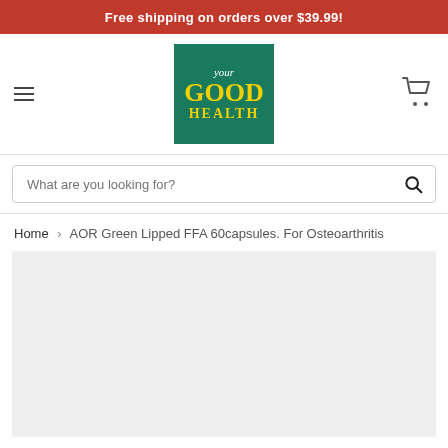Free shipping on orders over $39.99!
[Figure (logo): Your Good Health store logo — green background with yellow GOOD HEALTH text]
What are you looking for?
Home › AOR Green Lipped FFA 60capsules. For Osteoarthritis
[Figure (photo): Product image area, light grey background, product not yet loaded]